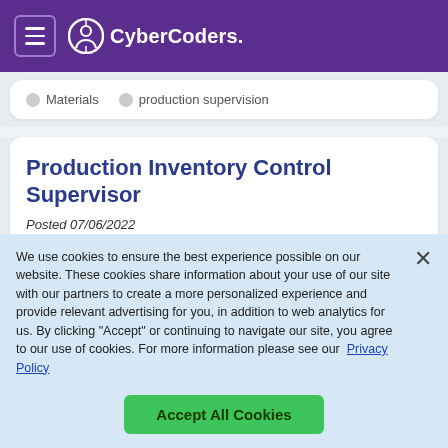[Figure (logo): CyberCoders logo with hamburger menu icon on purple header background]
Materials
production supervision
Production Inventory Control Supervisor
Posted 07/06/2022
Huntsville, AL
Full-time
We use cookies to ensure the best experience possible on our website. These cookies share information about your use of our site with our partners to create a more personalized experience and provide relevant advertising for you, in addition to web analytics for us. By clicking "Accept" or continuing to navigate our site, you agree to our use of cookies. For more information please see our  Privacy Policy
Accept All Cookies